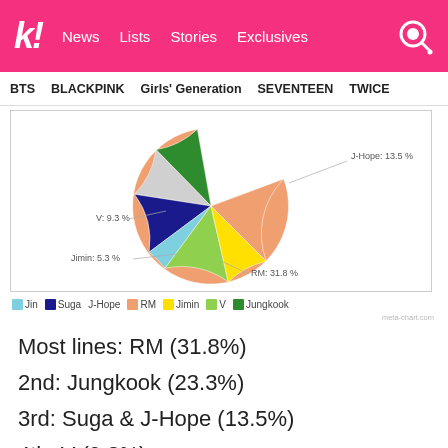k! News  Lists  Stories  Exclusives
BTS  BLACKPINK  Girls' Generation  SEVENTEEN  TWICE
[Figure (pie-chart): BTS line distribution]
Most lines: RM (31.8%)
2nd: Jungkook (23.3%)
3rd: Suga & J-Hope (13.5%)
4th: V (9.3%)